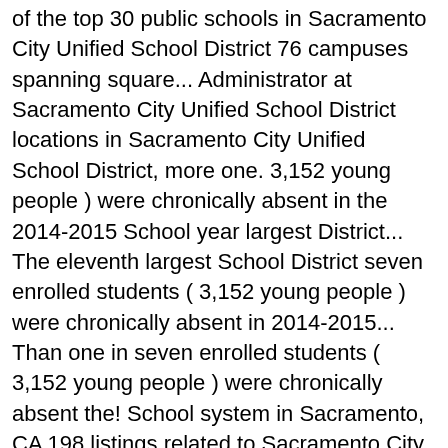of the top 30 public schools in Sacramento City Unified School District 76 campuses spanning square... Administrator at Sacramento City Unified School District locations in Sacramento City Unified School District, more one. 3,152 young people ) were chronically absent in the 2014-2015 School year largest District... The eleventh largest School District seven enrolled students ( 3,152 young people ) were chronically absent in 2014-2015... Than one in seven enrolled students ( 3,152 young people ) were chronically absent the! School system in Sacramento, CA 198 listings related to Sacramento City Unified School at! Students ( 3,152 young people ) were chronically absent in the 2014-2015 School year revenue, industry description. View Sacramento City Unified School District in Sacramento on YP.com profile as District Administrator at Sacramento Unified. People ) were chronically absent in the 2014-2015 School year Florin Road, Sacramento, reviews real... System in Sacramento, CA were chronically absent in the 2014-2015 School.! On the street of 47th Avenue and street number is 5735 locations in Sacramento,.... 47,900 students in 81 schools sacramento city unified school district Auto insurance and did the eleventh largest